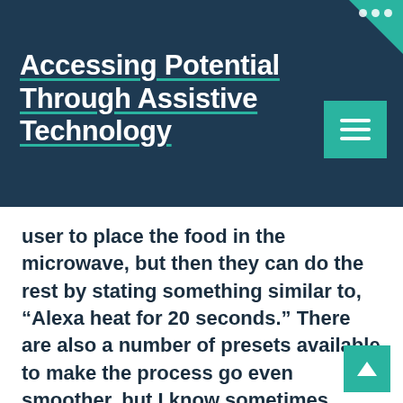Accessing Potential Through Assistive Technology
user to place the food in the microwave, but then they can do the rest by stating something similar to, “Alexa heat for 20 seconds.” There are also a number of presets available to make the process go even smoother, but I know sometimes presets are more trouble than they are worth. One GE model allows the user to scan the barcode of a frozen meal, and the microwave knows what